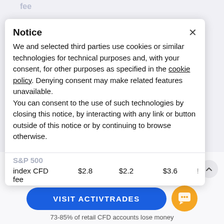Notice
We and selected third parties use cookies or similar technologies for technical purposes and, with your consent, for other purposes as specified in the cookie policy. Denying consent may make related features unavailable.
You can consent to the use of such technologies by closing this notice, by interacting with any link or button outside of this notice or by continuing to browse otherwise.
|  |  |  |  |
| --- | --- | --- | --- |
| S&P 500 |  |  |  |
| index CFD fee | $2.8 | $2.2 | $3.6 |
All commissions, spreads and financing rates (if applicable) for ope position, holding for a week, and closing.
VISIT ACTIVTRADES
73-85% of retail CFD accounts lose money